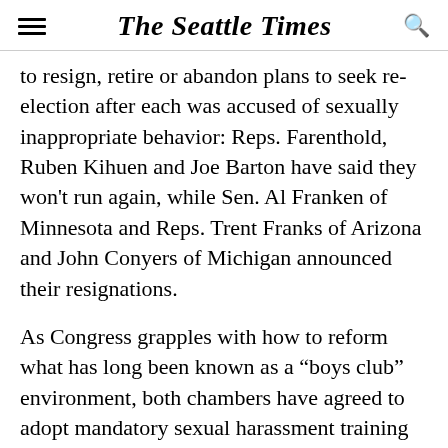The Seattle Times
to resign, retire or abandon plans to seek re-election after each was accused of sexually inappropriate behavior: Reps. Farenthold, Ruben Kihuen and Joe Barton have said they won't run again, while Sen. Al Franken of Minnesota and Reps. Trent Franks of Arizona and John Conyers of Michigan announced their resignations.
As Congress grapples with how to reform what has long been known as a “boys club” environment, both chambers have agreed to adopt mandatory sexual harassment training programs for all members and their staffs. Additionally, bills have been introduced that would eliminate mandatory confidentiality clauses attached to mediation and require members to repay any settlements made